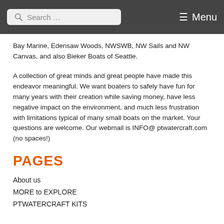Search ... Menu
Bay Marine, Edensaw Woods, NWSWB, NW Sails and NW Canvas, and also Bieker Boats of Seattle.
A collection of great minds and great people have made this endeavor meaningful. We want boaters to safely have fun for many years with their creation while saving money, have less negative impact on the environment, and much less frustration with limitations typical of many small boats on the market. Your questions are welcome. Our webmail is INFO@ ptwatercraft.com (no spaces!)
PAGES
About us
MORE to EXPLORE
PTWATERCRAFT KITS